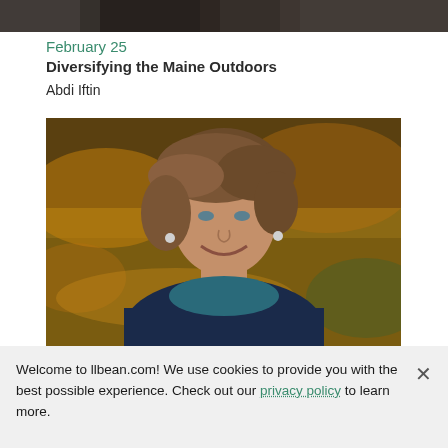[Figure (photo): Partial view of a person in outdoor clothing at the top of the page, cropped to a strip]
February 25
Diversifying the Maine Outdoors
Abdi Iftin
[Figure (photo): Portrait photo of a smiling middle-aged woman with short brown hair, wearing a blue patterned scarf and earrings, with an outdoor blurred background]
Welcome to llbean.com! We use cookies to provide you with the best possible experience. Check out our privacy policy to learn more.